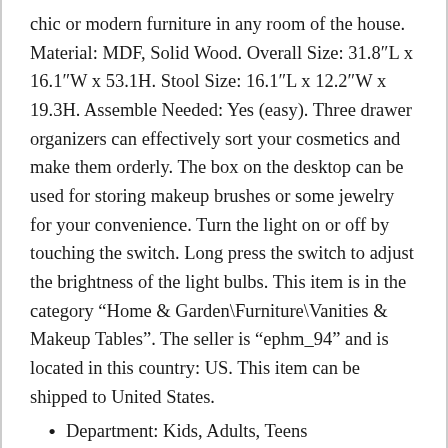chic or modern furniture in any room of the house. Material: MDF, Solid Wood. Overall Size: 31.8"L x 16.1"W x 53.1H. Stool Size: 16.1"L x 12.2"W x 19.3H. Assemble Needed: Yes (easy). Three drawer organizers can effectively sort your cosmetics and make them orderly. The box on the desktop can be used for storing makeup brushes or some jewelry for your convenience. Turn the light on or off by touching the switch. Long press the switch to adjust the brightness of the light bulbs. This item is in the category “Home & Garden\Furniture\Vanities & Makeup Tables”. The seller is “ephm_94” and is located in this country: US. This item can be shipped to United States.
Department: Kids, Adults, Teens
Item Height: 53.1\
Item Width: 16.1\
Assembly Required: Yes